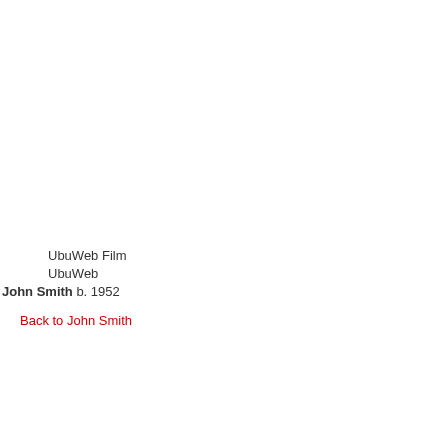UbuWeb Film
UbuWeb
John Smith b. 1952
Back to John Smith